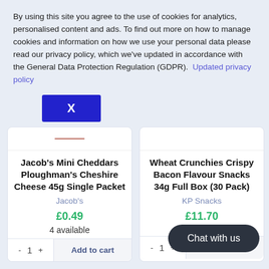By using this site you agree to the use of cookies for analytics, personalised content and ads. To find out more on how to manage cookies and information on how we use your personal data please read our privacy policy, which we've updated in accordance with the General Data Protection Regulation (GDPR).  Updated privacy policy
[Figure (screenshot): Blue close button with X]
[Figure (screenshot): Top of product card for Jacob's Mini Cheddars - image placeholder]
Jacob's Mini Cheddars Ploughman's Cheshire Cheese 45g Single Packet
Jacob's
£0.49
4 available
- 1 +
Add to cart
[Figure (screenshot): Top of product card for Wheat Crunchies - image placeholder]
Wheat Crunchies Crispy Bacon Flavour Snacks 34g Full Box (30 Pack)
KP Snacks
£11.70
- 1 +
Add to cart
Chat with us